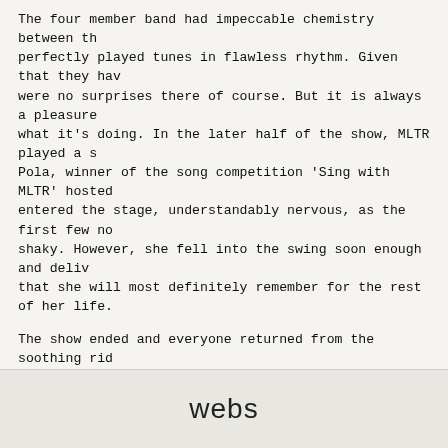The four member band had impeccable chemistry between th... perfectly played tunes in flawless rhythm. Given that they hav... were no surprises there of course. But it is always a pleasure... what it's doing. In the later half of the show, MLTR played a s... Pola, winner of the song competition 'Sing with MLTR' hosted... entered the stage, understandably nervous, as the first few no... shaky. However, she fell into the swing soon enough and deliv... that she will most definitely remember for the rest of her life.
The show ended and everyone returned from the soothing rid... again that they are still in Dhaka, where such experiences are... dampen the spirit a little, but also leaves hope that more such i... bands will come through our city in the near future. The organ... in this context. And a resounding 'Thank you' should be conve... fans with a memorable performance.
(Written by Farhan Ahmed)
webs